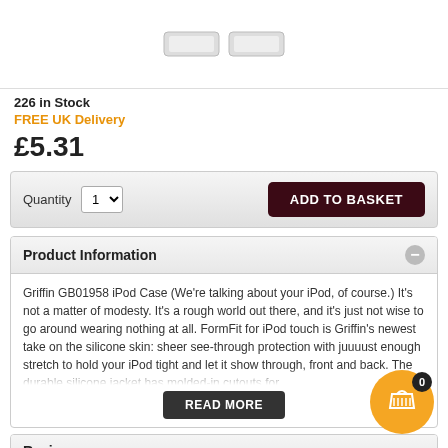[Figure (photo): Product image area showing iPod case accessories on white background]
226 in Stock
FREE UK Delivery
£5.31
Quantity 1  ADD TO BASKET
Product Information
Griffin GB01958 iPod Case (We're talking about your iPod, of course.) It's not a matter of modesty. It's a rough world out there, and it's just not wise to go around wearing nothing at all. FormFit for iPod touch is Griffin's newest take on the silicone skin: sheer see-through protection with juuuust enough stretch to hold your iPod tight and let it show through, front and back. The durable silicone jacket has molded-in cutouts for
READ MORE
Reviews
Be the first to review this product